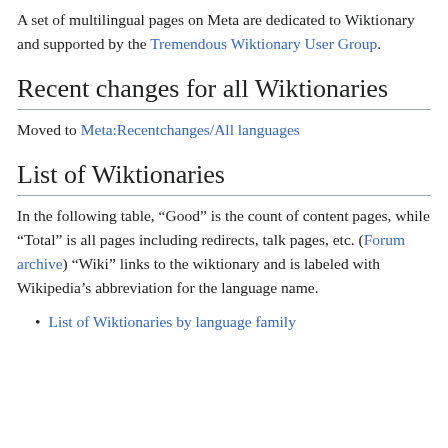A set of multilingual pages on Meta are dedicated to Wiktionary and supported by the Tremendous Wiktionary User Group.
Recent changes for all Wiktionaries
Moved to Meta:Recentchanges/All languages
List of Wiktionaries
In the following table, “Good” is the count of content pages, while “Total” is all pages including redirects, talk pages, etc. (Forum archive) “Wiki” links to the wiktionary and is labeled with Wikipedia’s abbreviation for the language name.
List of Wiktionaries by language family